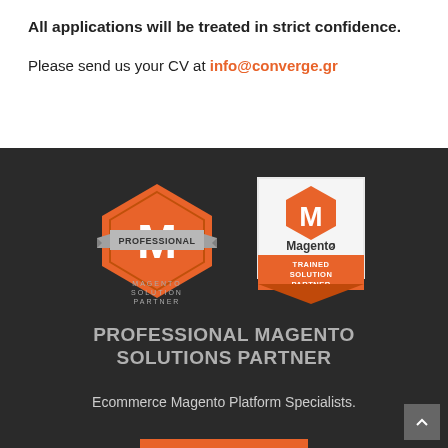All applications will be treated in strict confidence.
Please send us your CV at info@converge.gr
[Figure (logo): Magento Professional Solution Partner badge (orange hexagon with M logo and ribbon) and Magento 2 Trained Solution Partner badge (white bordered badge with orange M logo)]
PROFESSIONAL MAGENTO SOLUTIONS PARTNER
Ecommerce Magento Platform Specialists.
READ MORE